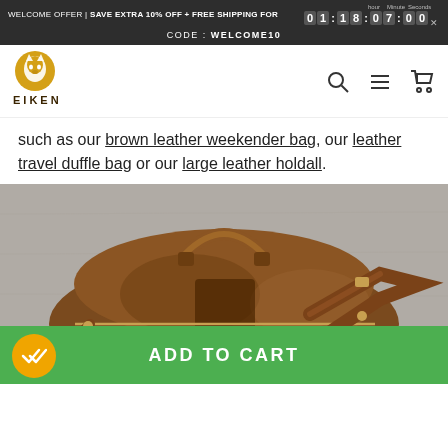WELCOME OFFER | SAVE EXTRA 10% OFF + FREE SHIPPING FOR 01:18:07:00 CODE: WELCOME10
[Figure (logo): Eiken brand logo - stylized horse head in gold circle with EIKEN text below]
such as our brown leather weekender bag, our leather travel duffle bag or our large leather holdall.
[Figure (photo): Brown vintage leather travel duffle bag with handles and shoulder strap, photographed against grey concrete background]
ADD TO CART